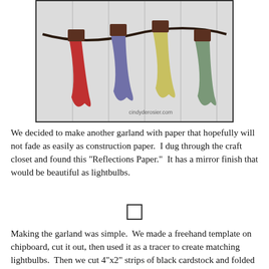[Figure (photo): A garland of four paper Christmas lightbulbs (red, purple/blue, yellow, and green) hanging on a dark cord against a white paneled door. Brown square caps attach each bulb to the cord. Watermark reads cindyderosier.com.]
We decided to make another garland with paper that hopefully will not fade as easily as construction paper.  I dug through the craft closet and found this "Reflections Paper."  It has a mirror finish that would be beautiful as lightbulbs.
[Figure (other): Small empty square placeholder image box.]
Making the garland was simple.  We made a freehand template on chipboard, cut it out, then used it as a tracer to create matching lightbulbs.  Then we cut 4"x2" strips of black cardstock and folded them in half.  We cut a length of black yarn and spaced the black